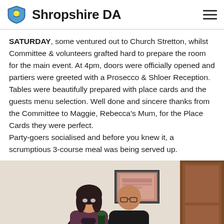Shropshire DA
SATURDAY, some ventured out to Church Stretton, whilst Committee & volunteers grafted hard to prepare the room for the main event. At 4pm, doors were officially opened and partiers were greeted with a Prosecco & Shloer Reception. Tables were beautifully prepared with place cards and the guests menu selection. Well done and sincere thanks from the Committee to Maggie, Rebecca's Mum, for the Place Cards they were perfect.
Party-goers socialised and before you knew it, a scrumptious 3-course meal was being served up.
[Figure (photo): Two people (a woman in a floral/dark top and a bald man in a dark jacket) posing together indoors, holding something, in front of a white brick wall with a framed picture and a wooden door in the background.]